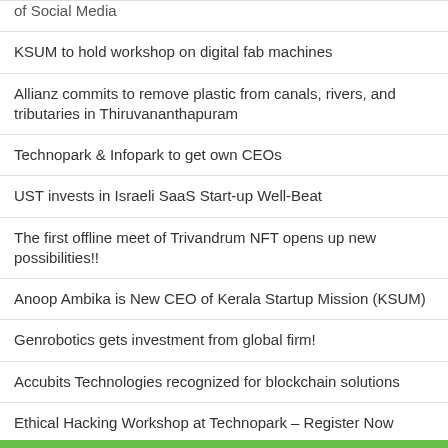of Social Media
KSUM to hold workshop on digital fab machines
Allianz commits to remove plastic from canals, rivers, and tributaries in Thiruvananthapuram
Technopark & Infopark to get own CEOs
UST invests in Israeli SaaS Start-up Well-Beat
The first offline meet of Trivandrum NFT opens up new possibilities!!
Anoop Ambika is New CEO of Kerala Startup Mission (KSUM)
Genrobotics gets investment from global firm!
Accubits Technologies recognized for blockchain solutions
Ethical Hacking Workshop at Technopark – Register Now
Treez Opens New Engineering Hub at Technopark
Timesworld expands its presence to Technopark
Technopark Based Prayan Animation Celebrates 10th Anniversary
WiFi data can be purchased from the government; One GB is free